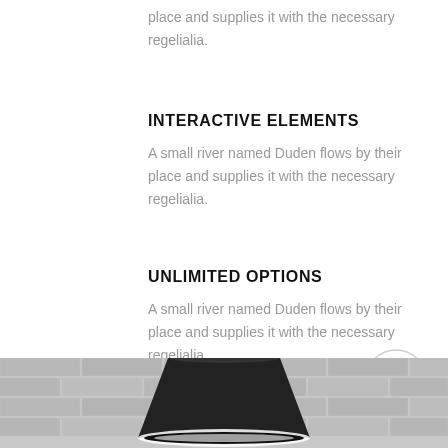place and supplies it with the necessary regelialia.
INTERACTIVE ELEMENTS
A small river named Duden flows by their place and supplies it with the necessary regelialia.
UNLIMITED OPTIONS
A small river named Duden flows by their place and supplies it with the necessary regelialia.
[Figure (illustration): Circular scroll-to-top button with upward arrow icon]
[Figure (photo): Black pendant lamp shade over brick wall background, grayscale photo strip at bottom of page]